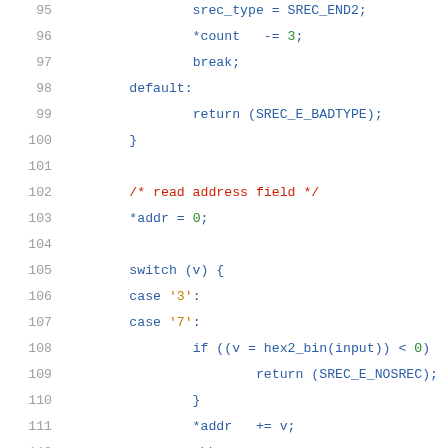[Figure (screenshot): Source code listing in C, lines 95-116, showing a switch statement for SREC type parsing with syntax highlighting. Keywords in blue, strings in orange, comments in red, numbers in green.]